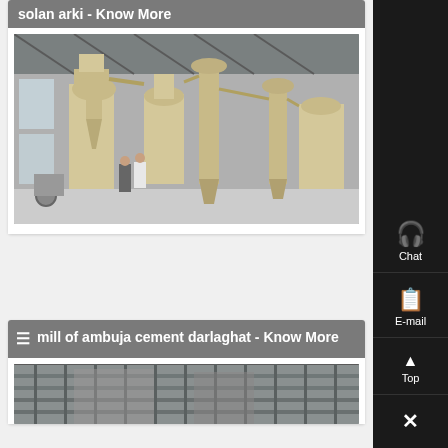solan arki - Know More
[Figure (photo): Industrial grinding mill machinery inside a large warehouse/factory building. Two workers visible in the foreground. Multiple cream/beige colored milling machines with cyclone separators and conveyor systems.]
mill of ambuja cement darlaghat - Know More
[Figure (photo): Partial view of industrial construction or machinery at cement plant, top portion visible showing steel framework and equipment.]